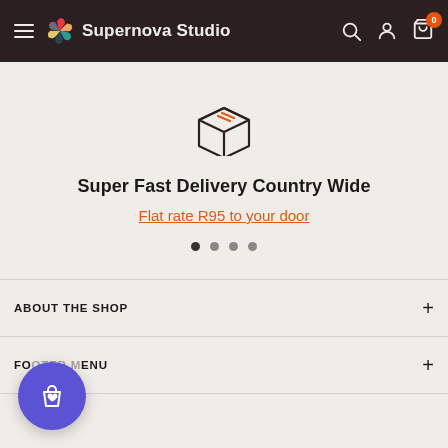Supernova Studio — navigation bar with hamburger menu, logo, search, account, and cart (0 items)
[Figure (illustration): Package/box icon outlined in dark with orange stripe detail on top]
Super Fast Delivery Country Wide
Flat rate R95 to your door
[Figure (other): Carousel pagination dots — 4 dots, first one active (filled dark)]
ABOUT THE SHOP
FO... MENU
[Figure (other): Purple circular floating action button with shopping bag and heart icon]